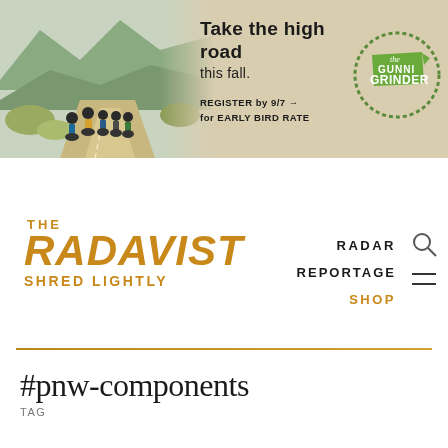[Figure (other): Advertisement banner for Gunni Grinder cycling event. Left side shows cyclists riding on a mountain road. Right side has text 'Take the high road this fall. REGISTER by 9/7 → for EARLY BIRD RATE' and the Gunni Grinder logo (map silhouette of Colorado with text).]
[Figure (logo): The Radavist 'SHRED LIGHTLY' logo in orange/gold with bold italic typeface]
RADAR
REPORTAGE
SHOP
#pnw-components
TAG